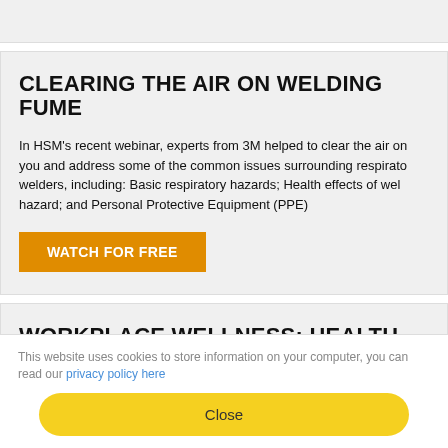CLEARING THE AIR ON WELDING FUME
In HSM's recent webinar, experts from 3M helped to clear the air on you and address some of the common issues surrounding respiratory welders, including: Basic respiratory hazards; Health effects of welding hazard; and Personal Protective Equipment (PPE)
WATCH FOR FREE
WORKPLACE WELLNESS: HEALTH BEYOND
In this HSM webinar, experts from Cority explained how technology
This website uses cookies to store information on your computer, you can read our privacy policy here
Close